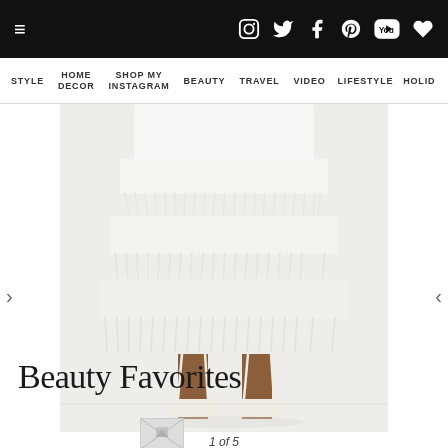≡  [Instagram] [Twitter] [Facebook] [Pinterest] [YouTube] [Heart]
STYLE  HOME DECOR  SHOP MY INSTAGRAM  BEAUTY  TRAVEL  VIDEO  LIFESTYLE  HOLID…
[Figure (photo): Fashion photo of a model wearing a white tiered fringe/feather midi dress with strappy heeled sandals, cropped at waist, against a light background. Shows lower body only. Navigation arrows on left and right.]
1 of 5
Beauty Favorites
[Figure (photo): Partially visible broken/loading image thumbnail at bottom of page]